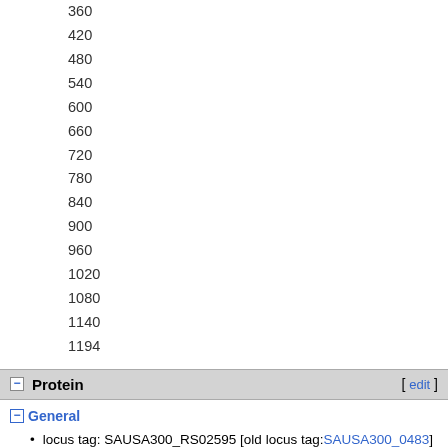360
420
480
540
600
660
720
780
840
900
960
1020
1080
1140
1194
Protein
General
locus tag: SAUSA300_RS02595 [old locus tag: SAUSA300_0483 ]
symbol: SAUSA300_RS02595
description: nucleotide pyrophosphohydrolase